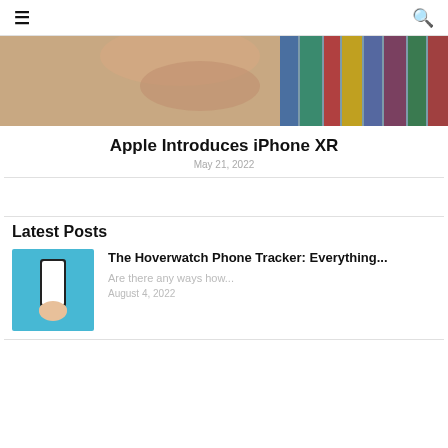≡  🔍
[Figure (photo): Close-up of a hand holding a smartphone with books blurred in the background]
Apple Introduces iPhone XR
May 21, 2022
Latest Posts
[Figure (photo): Hand holding a smartphone with blank white screen on a blue background]
The Hoverwatch Phone Tracker: Everything...
Are there any ways how...
August 4, 2022